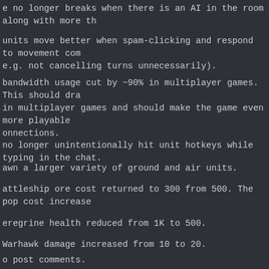e no longer breaks when there is an AI in the room along with more th
units move better when spam-clicking and respond to movement com e.g. not cancelling turns unnecessarily).
bandwidth usage cut by ~90% in multiplayer games. This should dra in multiplayer games and should make the game even more playable onnections.
no longer unintentionally hit unit hotkeys while typing in the chat.
awn a larger variety of ground and air units.
attleship ore cost returned to 300 from 500. The pop cost increase
eregrine health reduced from 1K to 500.
Warhawk damage increased from 10 to 20.
omber max velocity increased from 600 to 680.
o post comments.